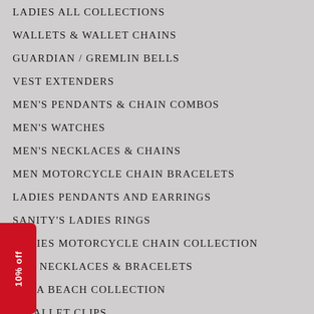LADIES ALL COLLECTIONS
WALLETS & WALLET CHAINS
GUARDIAN / GREMLIN BELLS
VEST EXTENDERS
MEN'S PENDANTS & CHAIN COMBOS
MEN'S WATCHES
MEN'S NECKLACES & CHAINS
MEN MOTORCYCLE CHAIN BRACELETS
LADIES PENDANTS AND EARRINGS
SANITY'S LADIES RINGS
LADIES MOTORCYCLE CHAIN COLLECTION
GER NECKLACES & BRACELETS
TONA BEACH COLLECTION
T/WALLET CLIPS
KEY RINGS